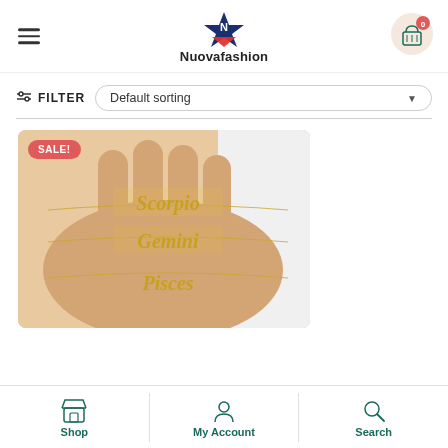Nuovafashion
FILTER  |  Default sorting
[Figure (photo): Hand holding three gold zodiac necklaces with old English script reading Scorpio, Gemini, and Pisces. A red SALE! badge is visible in the top-left corner.]
Shop  My Account  Search